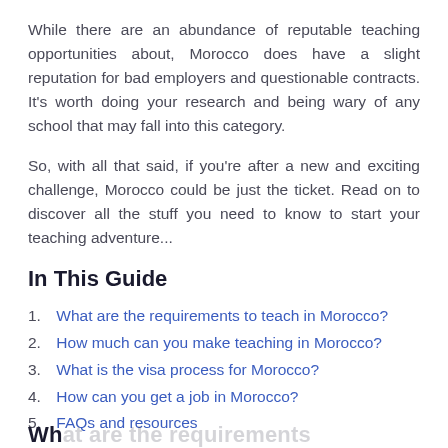While there are an abundance of reputable teaching opportunities about, Morocco does have a slight reputation for bad employers and questionable contracts. It's worth doing your research and being wary of any school that may fall into this category.
So, with all that said, if you're after a new and exciting challenge, Morocco could be just the ticket. Read on to discover all the stuff you need to know to start your teaching adventure...
In This Guide
1. What are the requirements to teach in Morocco?
2. How much can you make teaching in Morocco?
3. What is the visa process for Morocco?
4. How can you get a job in Morocco?
5. FAQs and resources
Wh...